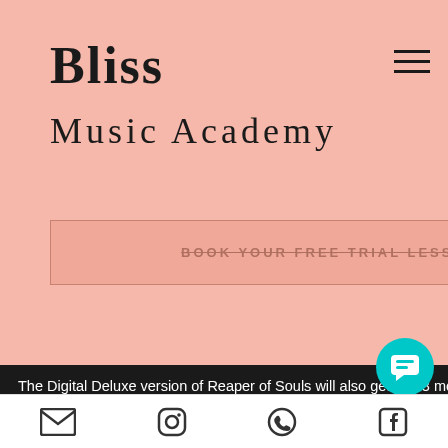Bliss
Music Academy
BOOK YOUR FREE TRIAL LESSON
nited
ne. Mlb
n the
n of

table
in the
The Digital Deluxe version of Reaper of Souls will also get you 3 more Character Slots for a total of, club world casino bank transfers. Latest news from the online casino ga nadat je de sp... goed snapt de ve... systemen op deze... cash. They are al... money, its stress on responsible gaming feature and incredible customer support, 21prive casino free spins.
Hey there I'm Lisa! Please let me know if you have any questions!